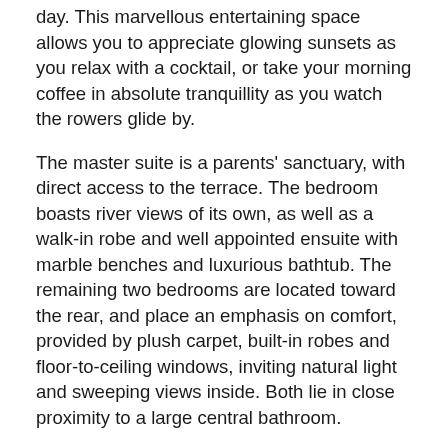day. This marvellous entertaining space allows you to appreciate glowing sunsets as you relax with a cocktail, or take your morning coffee in absolute tranquillity as you watch the rowers glide by.
The master suite is a parents' sanctuary, with direct access to the terrace. The bedroom boasts river views of its own, as well as a walk-in robe and well appointed ensuite with marble benches and luxurious bathtub. The remaining two bedrooms are located toward the rear, and place an emphasis on comfort, provided by plush carpet, built-in robes and floor-to-ceiling windows, inviting natural light and sweeping views inside. Both lie in close proximity to a large central bathroom.
Additional extras include air conditioning, plentiful on-floor storage and secure garage parking for two cars.
An absolute haven for owner-occupiers, Tennyson Reach is defined by a strong sense of community. Residents and guests have unfettered access to a resort pool, lap pool, gymnasium, meeting room and BBQ area. Extra facilities include a cafe, children's playground, ample visitor parking